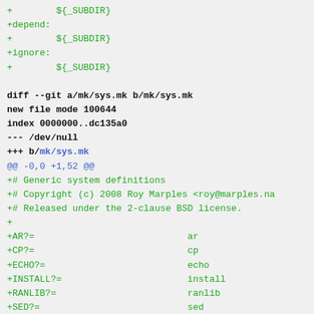+        ${_SUBDIR}
+depend:
+        ${_SUBDIR}
+ignore:
+        ${_SUBDIR}

diff --git a/mk/sys.mk b/mk/sys.mk
new file mode 100644
index 0000000..dc135a0
--- /dev/null
+++ b/mk/sys.mk
@@ -0,0 +1,52 @@
+# Generic system definitions
+# Copyright (c) 2008 Roy Marples <roy@marples.na
+# Released under the 2-clause BSD license.
+
+AR?=                            ar
+CP?=                            cp
+ECHO?=                          echo
+INSTALL?=                       install
+RANLIB?=                        ranlib
+SED?=                           sed